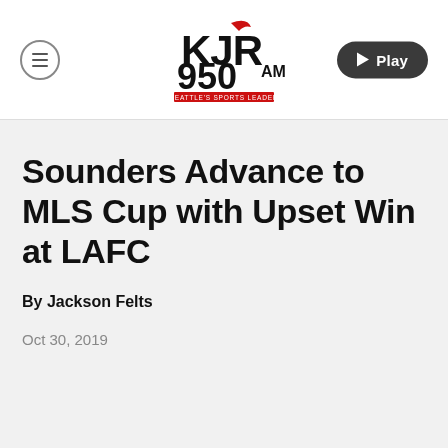[Figure (logo): KJR 950 AM Seattle's Sports Leader radio station logo with red and black lettering and devil horns graphic]
Sounders Advance to MLS Cup with Upset Win at LAFC
By Jackson Felts
Oct 30, 2019